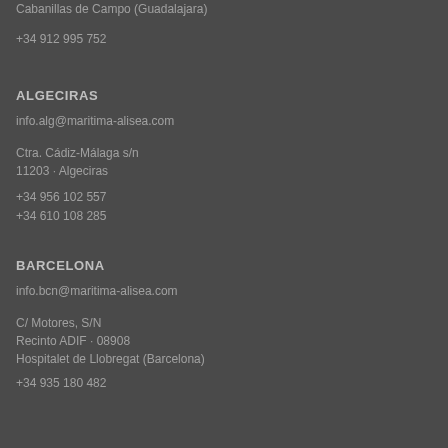Cabanillas de Campo (Guadalajara)
+34 912 995 752
ALGECIRAS
info.alg@maritima-alisea.com
Ctra. Cádiz-Málaga s/n
11203 · Algeciras
+34 956 102 557
+34 610 108 285
BARCELONA
info.bcn@maritima-alisea.com
C/ Motores, S/N
Recinto ADIF · 08908
Hospitalet de Llobregat (Barcelona)
+34 935 180 482